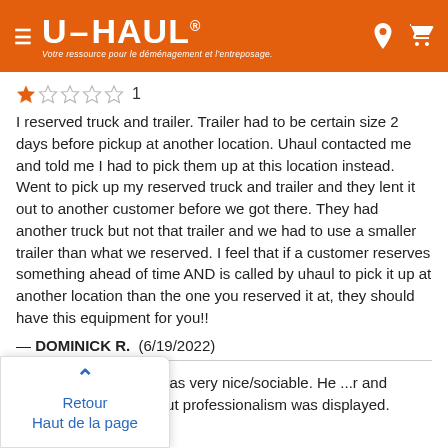U-HAUL — Votre ressource pour le déménagement et l'entreposage.
★☆☆☆☆ 1
I reserved truck and trailer. Trailer had to be certain size 2 days before pickup at another location. Uhaul contacted me and told me I had to pick them up at this location instead. Went to pick up my reserved truck and trailer and they lent it out to another customer before we got there. They had another truck but not that trailer and we had to use a smaller trailer than what we reserved. I feel that if a customer reserves something ahead of time AND is called by uhaul to pick it up at another location than the one you reserved it at, they should have this equipment for you!!
— DOMINICK R. (6/19/2022)
...turned the trailer to was very nice/sociable. He ...r and unhooked it. Nothing but professionalism was displayed.